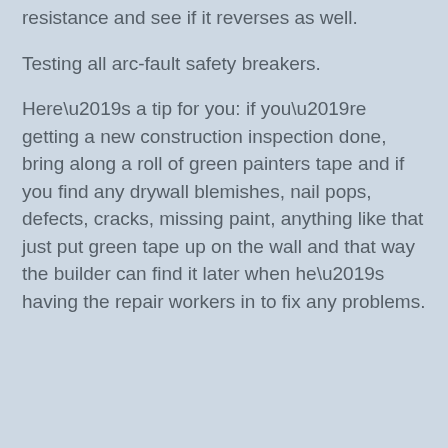resistance and see if it reverses as well.
Testing all arc-fault safety breakers.
Here’s a tip for you: if you’re getting a new construction inspection done, bring along a roll of green painters tape and if you find any drywall blemishes, nail pops, defects, cracks, missing paint, anything like that just put green tape up on the wall and that way the builder can find it later when he’s having the repair workers in to fix any problems.